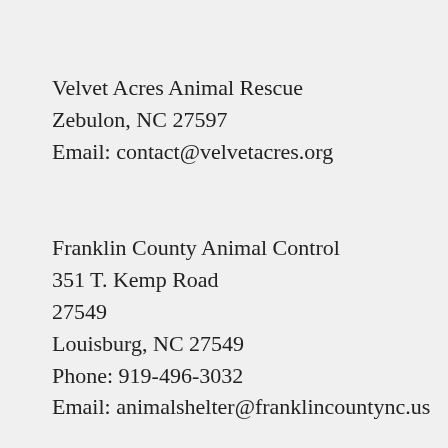Velvet Acres Animal Rescue
Zebulon, NC 27597
Email: contact@velvetacres.org
Franklin County Animal Control
351 T. Kemp Road
27549
Louisburg, NC 27549
Phone: 919-496-3032
Email: animalshelter@franklincountync.us